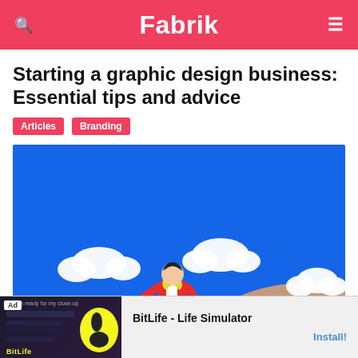Fabrik
Starting a graphic design business: Essential tips and advice
Articles
Branding
[Figure (illustration): Flat illustration of a person in a red jacket with a yellow scarf, running over rocky terrain with a blue sky, white clouds, and a hillside in the background.]
Ad — BitLife - Life Simulator   Install!